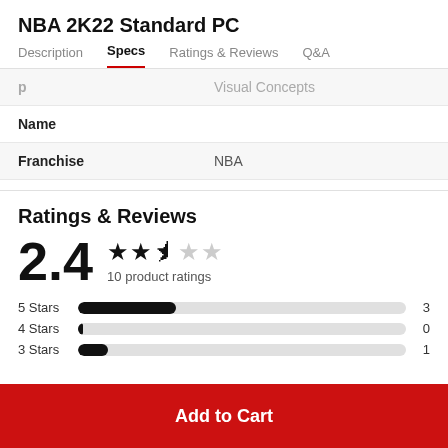NBA 2K22 Standard PC
Description | Specs | Ratings & Reviews | Q&A
| Property | Value |
| --- | --- |
| Name | Visual Concepts |
| Franchise | NBA |
Ratings & Reviews
2.4 — 2.4 out of 5 stars, 10 product ratings
5 Stars: 3, 4 Stars: 0, 3 Stars: 1